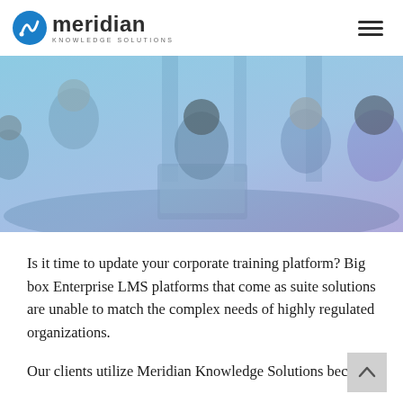Meridian Knowledge Solutions
[Figure (photo): A group of four professionals sitting around a table in a meeting room with a laptop open, overlaid with a blue-purple tint.]
Is it time to update your corporate training platform? Big box Enterprise LMS platforms that come as suite solutions are unable to match the complex needs of highly regulated organizations.
Our clients utilize Meridian Knowledge Solutions because